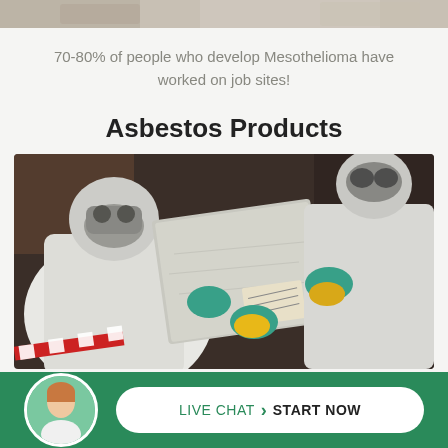[Figure (photo): Top strip showing partial photo of workers in protective gear]
70-80% of people who develop Mesothelioma have worked on job sites!
Asbestos Products
[Figure (photo): Workers in white hazmat suits and teal/yellow gloves handling asbestos material (flat sheet). Red and white warning tape visible at bottom left.]
LIVE CHAT › START NOW